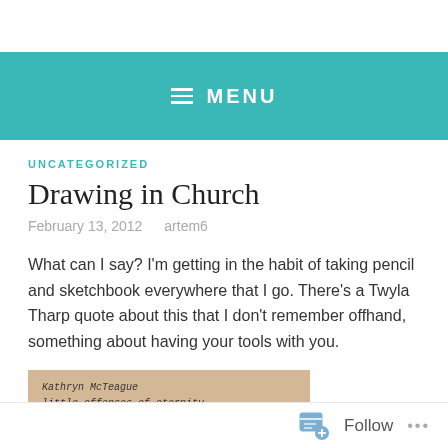MENU
UNCATEGORIZED
Drawing in Church
February 13, 2012   artem6
What can I say?  I'm getting in the habit of taking pencil and sketchbook everywhere that I go.  There's a Twyla Tharp quote about this that I don't remember offhand, something about having your tools with you.
[Figure (photo): A sketched handwritten note on tan/brown paper with handwriting reading 'Kathryn McTeague' and 'little offenses of eternity']
Follow  ...